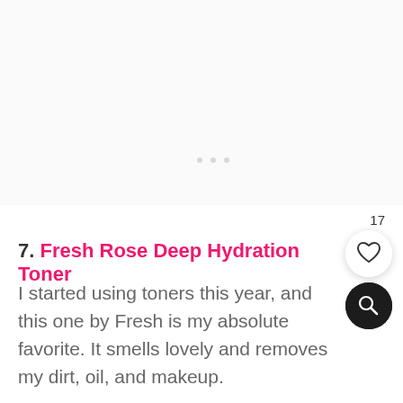[Figure (photo): Faint/mostly blank upper area of a webpage or article, white/light gray background with barely visible content]
7. Fresh Rose Deep Hydration Toner
I started using toners this year, and this one by Fresh is my absolute favorite. It smells lovely and removes my dirt, oil, and makeup.